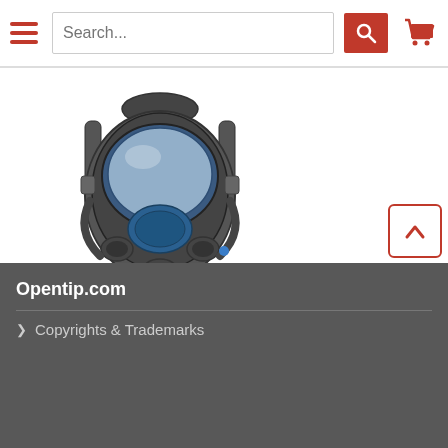[Figure (screenshot): E-commerce website header with hamburger menu, search bar, search button, and shopping cart icon]
[Figure (photo): MSA Advantage 3200 Full-Facepiece Respirator — gray and blue full face gas mask with clear visor and blue nose cup]
Msa 10028996 Advantage 3200 Full-Facepiece Respira...
$211.46
Opentip.com
> Copyrights & Trademarks